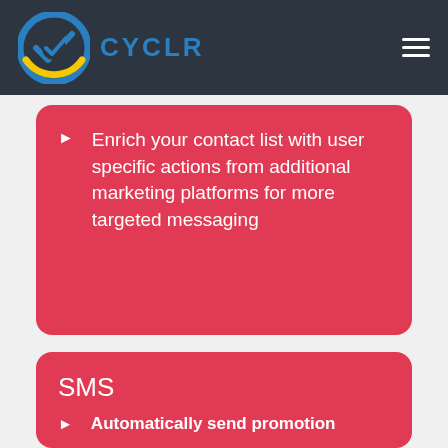CYCLR
Enrich your contact list with user specific actions from additional marketing platforms for more targeted messaging
SMS
Automatically send promotion